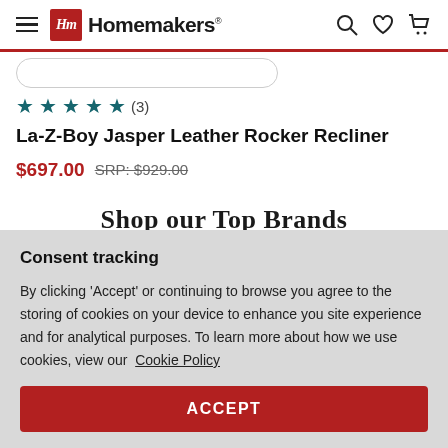Homemakers
[Figure (screenshot): Search bar placeholder, partial view]
★★★★☆ (3)
La-Z-Boy Jasper Leather Rocker Recliner
$697.00  SRP: $929.00
Shop our Top Brands
Consent tracking
By clicking 'Accept' or continuing to browse you agree to the storing of cookies on your device to enhance you site experience and for analytical purposes. To learn more about how we use cookies, view our Cookie Policy
ACCEPT